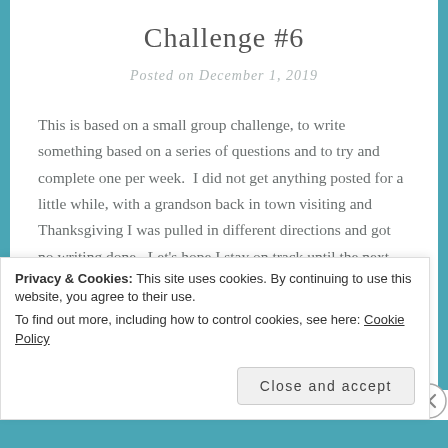Challenge #6
Posted on December 1, 2019
This is based on a small group challenge, to write something based on a series of questions and to try and complete one per week.  I did not get anything posted for a little while, with a grandson back in town visiting and Thanksgiving I was pulled in different directions and got no writing done.  Let's hope I stay on track until the next holiday.
Privacy & Cookies: This site uses cookies. By continuing to use this website, you agree to their use.
To find out more, including how to control cookies, see here: Cookie Policy